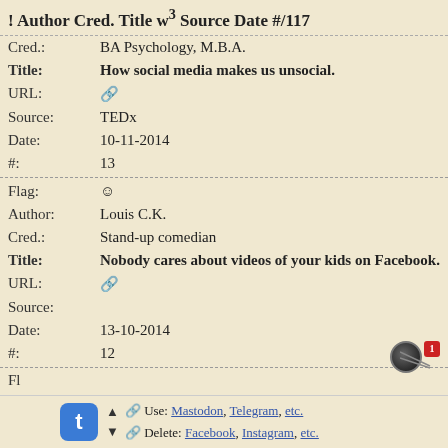! Author Cred. Title w³ Source Date #/117
| Cred.: | BA Psychology, M.B.A. |
| Title: | How social media makes us unsocial. |
| URL: | 🔗 |
| Source: | TEDx |
| Date: | 10-11-2014 |
| #: | 13 |
| Flag: | ☺ |
| Author: | Louis C.K. |
| Cred.: | Stand-up comedian |
| Title: | Nobody cares about videos of your kids on Facebook. |
| URL: | 🔗 |
| Source: |  |
| Date: | 13-10-2014 |
| #: | 12 |
| Fl | ☺ |
t ▲ 🔗 Use: Mastodon, Telegram, etc. ▼ 🔗 Delete: Facebook, Instagram, etc.